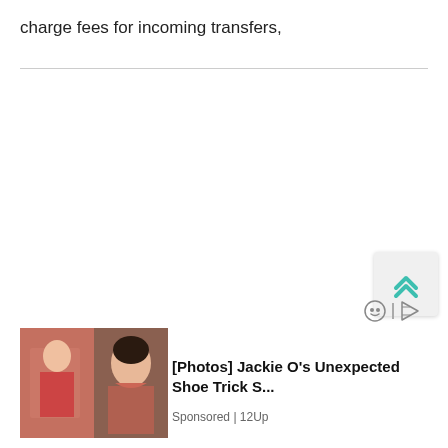charge fees for incoming transfers,
[Figure (screenshot): Scroll-to-top button with double chevron up arrow in teal/green color on light gray rounded square background]
[Figure (other): Ad network icons: circular face icon and play/ad indicator icon]
[Figure (photo): Advertisement image showing two photos of Jackie O in a red dress and a portrait]
[Photos] Jackie O's Unexpected Shoe Trick S...
Sponsored | 12Up